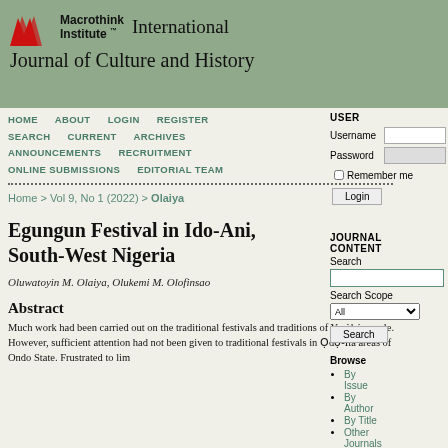Macrothink Institute™ International Journal of Culture and History
HOME   ABOUT   LOGIN   REGISTER   SEARCH   CURRENT   ARCHIVES   ANNOUNCEMENTS   RECRUITMENT   ONLINE SUBMISSIONS   EDITORIAL TEAM
Home > Vol 9, No 1 (2022) > Olaiya
Egungun Festival in Ido-Ani, South-West Nigeria
Oluwatoyin M. Olaiya, Olukemi M. Olofinsao
Abstract
Much work had been carried out on the traditional festivals and traditions of Yorùbá people. However, sufficient attention had not been given to traditional festivals in Ọdọ-Ìtá areas of Ondo State. Frustrated to lim...